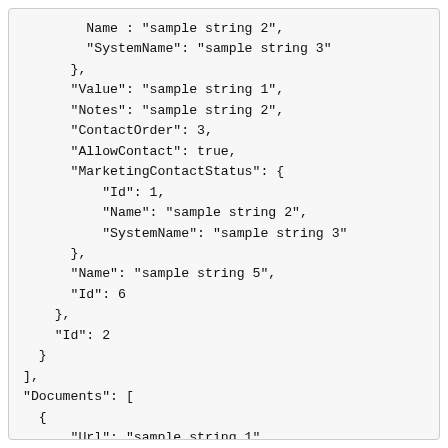Name : sample string 2,
    "SystemName": "sample string 3"
},
"Value": "sample string 1",
"Notes": "sample string 2",
"ContactOrder": 3,
"AllowContact": true,
"MarketingContactStatus": {
    "Id": 1,
    "Name": "sample string 2",
    "SystemName": "sample string 3"
},
"Name": "sample string 5",
"Id": 6
},
"Id": 2
}
],
"Documents": [
{
    "Url": "sample string 1",
    "RequiresAuthentication": true,
    "ExpiryDate": "2022-08-